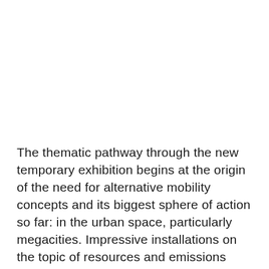The thematic pathway through the new temporary exhibition begins at the origin of the need for alternative mobility concepts and its biggest sphere of action so far: in the urban space, particularly megacities. Impressive installations on the topic of resources and emissions highlight the challenges confronting our modern society and indicate the opportunities offered at the present time by electrification of mobility.